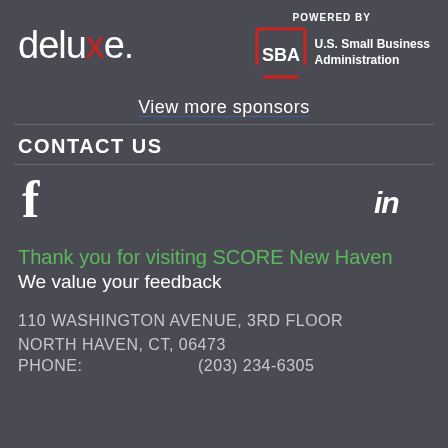[Figure (logo): Deluxe logo in white with red 'x' letter]
[Figure (logo): POWERED BY U.S. Small Business Administration (SBA) logo with red and white bracket icon]
View more sponsors
CONTACT US
[Figure (logo): Facebook 'f' icon]
[Figure (logo): LinkedIn 'in' icon]
Thank you for visiting SCORE New Haven
We value your feedback
110 WASHINGTON AVENUE, 3RD FLOOR
NORTH HAVEN, CT, 06473
PHONE:  (203) 234-6305